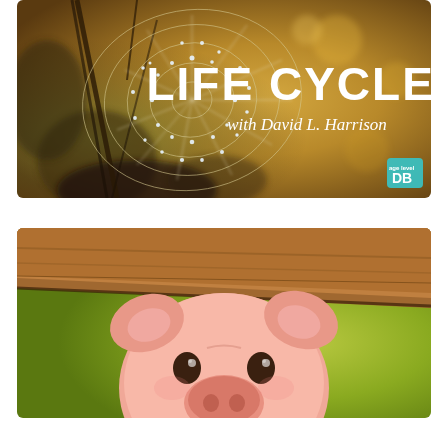[Figure (photo): Book cover image for 'Life Cycles with David L. Harrison'. Background shows a spider web with dew drops on a warm golden/amber bokeh background. Bold white text reads 'LIFE CYCLES' with smaller text 'with David L. Harrison'. A small 'age level DB' badge in teal is visible in the bottom-right corner.]
[Figure (illustration): Book cover image showing a digitally illustrated cute baby pig (piglet) with pink skin, large ears, and expressive brown eyes, peeking over a wooden surface/fence, with a soft green background.]